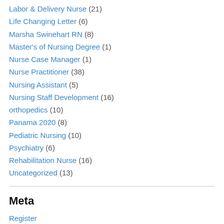Labor & Delivery Nurse (21)
Life Changing Letter (6)
Marsha Swinehart RN (8)
Master's of Nursing Degree (1)
Nurse Case Manager (1)
Nurse Practitioner (38)
Nursing Assistant (5)
Nursing Staff Development (16)
orthopedics (10)
Panama 2020 (8)
Pediatric Nursing (10)
Psychiatry (6)
Rehabilitation Nurse (16)
Uncategorized (13)
Meta
Register
Log in